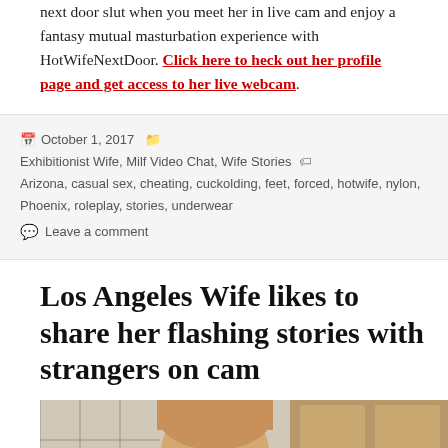next door slut when you meet her in live cam and enjoy a fantasy mutual masturbation experience with HotWifeNextDoor. Click here to heck out her profile page and get access to her live webcam.
October 1, 2017   Exhibitionist Wife, Milf Video Chat, Wife Stories   Arizona, casual sex, cheating, cuckolding, feet, forced, hotwife, nylon, Phoenix, roleplay, stories, underwear   Leave a comment
Los Angeles Wife likes to share her flashing stories with strangers on cam
[Figure (photo): Photo of a woman with blonde/light brown hair, partially visible, in front of wooden cabinet doors]